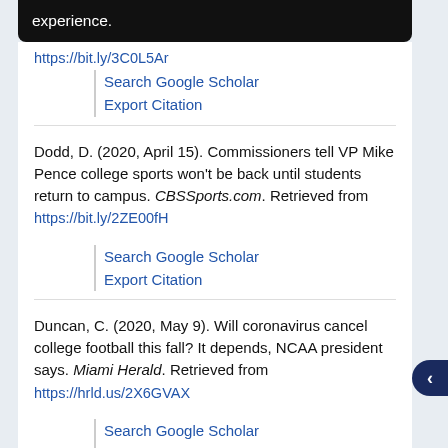experience.
https://bit.ly/3C0L5Ar
Search Google Scholar
Export Citation
Dodd, D. (2020, April 15). Commissioners tell VP Mike Pence college sports won't be back until students return to campus. CBSSports.com. Retrieved from https://bit.ly/2ZE00fH
Search Google Scholar
Export Citation
Duncan, C. (2020, May 9). Will coronavirus cancel college football this fall? It depends, NCAA president says. Miami Herald. Retrieved from https://hrld.us/2X6GVAX
Search Google Scholar
Export Citation